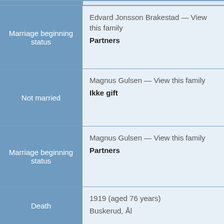| Attribute | Value |
| --- | --- |
| Marriage beginning status | Edvard Jonsson Brakestad — View this family
Partners |
| Not married | Magnus Gulsen — View this family
Ikke gift |
| Marriage beginning status | Magnus Gulsen — View this family
Partners |
| Death | 1919 (aged 76 years)
Buskerud, Ål |